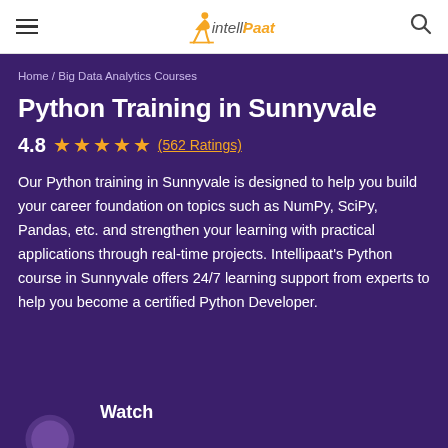IntelliPaat
Home / Big Data Analytics Courses
Python Training in Sunnyvale
4.8 ★★★★★ (562 Ratings)
Our Python training in Sunnyvale is designed to help you build your career foundation on topics such as NumPy, SciPy, Pandas, etc. and strengthen your learning with practical applications through real-time projects. Intellipaat's Python course in Sunnyvale offers 24/7 learning support from experts to help you become a certified Python Developer.
Watch